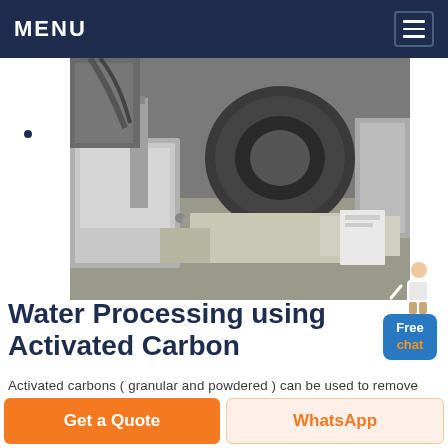MENU
[Figure (photo): Industrial machinery/equipment photo showing metallic mechanical components, pipes, and rollers in a factory or processing plant setting.]
Water Processing using Activated Carbon
Activated carbons (granular and powdered) can be used to remove chlorine and chloramines along with other organic contaminants and particles to help ensure water meets process requirements. Catalytic activated carbons provide faster reaction rates than conventional carbons requiring smaller adsorption equipment and less carbon